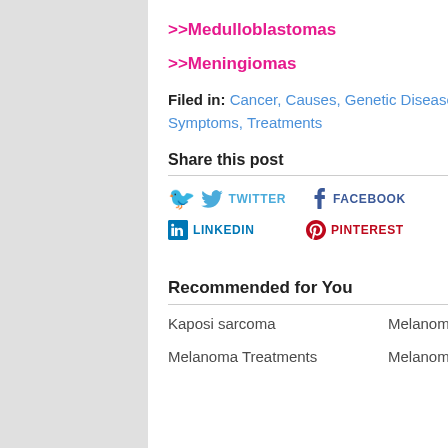>>Medulloblastomas
>>Meningiomas
Filed in: Cancer, Causes, Genetic Diseases, Symptoms, Treatments
Share this post
TWITTER  FACEBOOK  GOOGLE+  LINKEDIN  PINTEREST  EMAIL
Recommended for You
Kaposi sarcoma
Melanoma
Melanoma Treatments
Melanoma Diagnosis